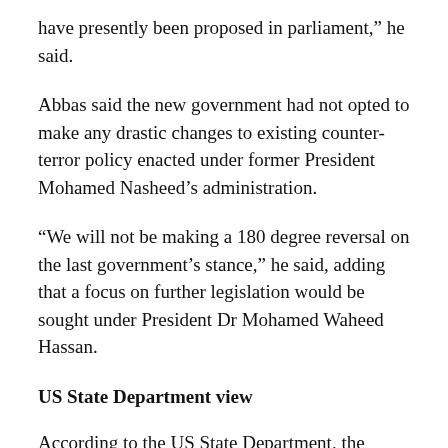have presently been proposed in parliament,” he said.
Abbas said the new government had not opted to make any drastic changes to existing counter-terror policy enacted under former President Mohamed Nasheed’s administration.
“We will not be making a 180 degree reversal on the last government’s stance,” he said, adding that a focus on further legislation would be sought under President Dr Mohamed Waheed Hassan.
US State Department view
According to the US State Department, the American government was partnering with Maldivian counterparts in attempts to “strengthen” law enforcement in the Indian Ocean nation. The US